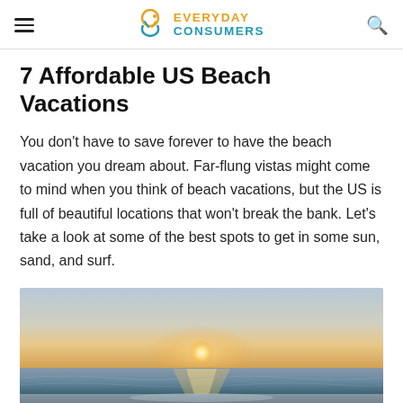Everyday Consumers
7 Affordable US Beach Vacations
You don't have to save forever to have the beach vacation you dream about. Far-flung vistas might come to mind when you think of beach vacations, but the US is full of beautiful locations that won't break the bank. Let's take a look at some of the best spots to get in some sun, sand, and surf.
[Figure (photo): Beach sunset photo showing sun setting over ocean with warm orange and blue tones reflecting on water and wet sand]